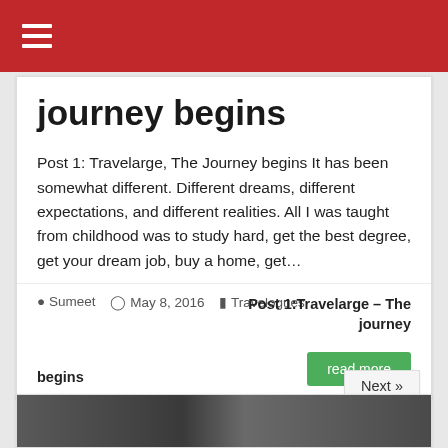☰ (hamburger menu)
journey begins
Post 1: Travelarge, The Journey begins It has been somewhat different. Different dreams, different expectations, and different realities. All I was taught from childhood was to study hard, get the best degree, get your dream job, buy a home, get…
Sumeet  May 8, 2016  Travelogues  Post 1:Travelarge – The journey begins  read more
Next »
[Figure (photo): Partial view of a rocky/outdoor scene at the bottom of the page]